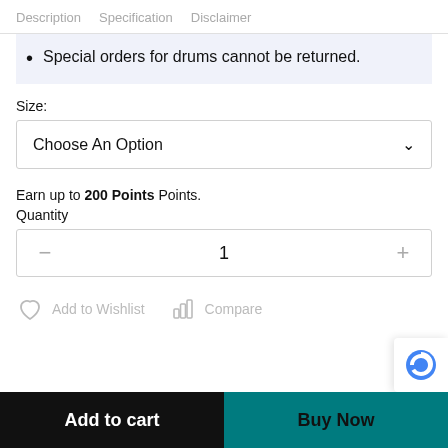Description  Specification  Disclaimer
Special orders for drums cannot be returned.
Size:
Choose An Option
Earn up to 200 Points Points.
Quantity
1
Add to Wishlist
Compare
Add to cart
Buy Now